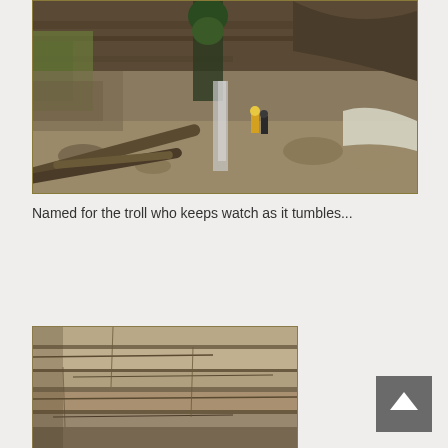[Figure (photo): A canyon scene with large rock overhangs, fallen logs in the foreground, two hikers in yellow and dark clothing standing near a waterfall or rock face, evergreen trees above, and snow/ice visible on the right side.]
Named for the troll who keeps watch as it tumbles...
[Figure (photo): Close-up of layered rock formations, showing sedimentary rock face with horizontal banding and crevices.]